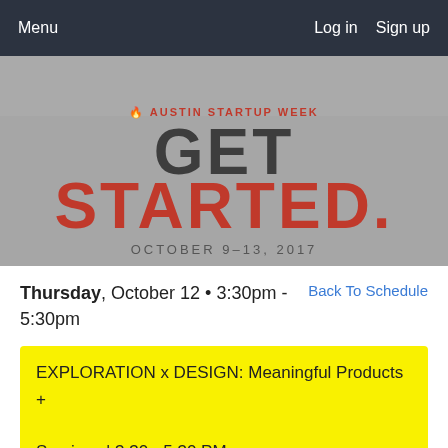Menu    Log in   Sign up
[Figure (photo): Austin Startup Week banner image showing people at an event, with overlay text: AUSTIN STARTUP WEEK / GET / STARTED. / OCTOBER 9-13, 2017]
Thursday, October 12 • 3:30pm - 5:30pm
Back To Schedule
EXPLORATION x DESIGN: Meaningful Products + Services | 3:30 - 5:30 PM